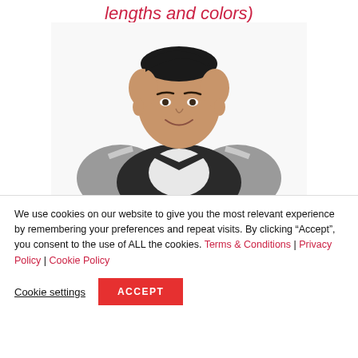lengths and colors)
[Figure (photo): Person with short dark hair, wearing a gray and black varsity/bomber jacket over a white shirt, smiling, photographed against a white background (upper body shot)]
We use cookies on our website to give you the most relevant experience by remembering your preferences and repeat visits. By clicking “Accept”, you consent to the use of ALL the cookies. Terms & Conditions | Privacy Policy | Cookie Policy
Cookie settings  ACCEPT